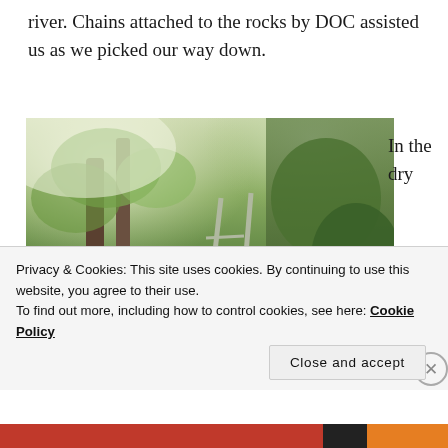river.  Chains attached to the rocks by DOC assisted us as we picked our way down.
[Figure (photo): A hiker with a large backpack stands at the base of a metal ladder propped against a steep, heavily vegetated hillside or cliff face covered in dense jungle foliage, ferns, and trees. Bright light filters through the canopy above.]
In the dry
Privacy & Cookies: This site uses cookies. By continuing to use this website, you agree to their use.
To find out more, including how to control cookies, see here: Cookie Policy
Close and accept